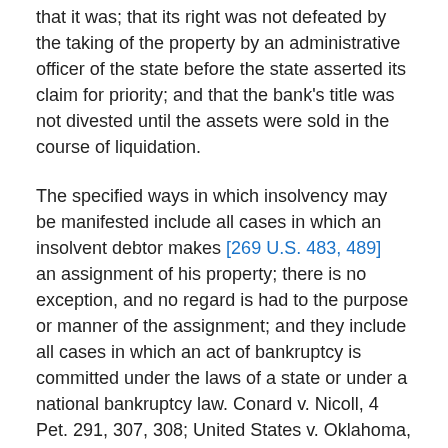that it was; that its right was not defeated by the taking of the property by an administrative officer of the state before the state asserted its claim for priority; and that the bank's title was not divested until the assets were sold in the course of liquidation.
The specified ways in which insolvency may be manifested include all cases in which an insolvent debtor makes [269 U.S. 483, 489]   an assignment of his property; there is no exception, and no regard is had to the purpose or manner of the assignment; and they include all cases in which an act of bankruptcy is committed under the laws of a state or under a national bankruptcy law. Conard v. Nicoll, 4 Pet. 291, 307, 308; United States v. Oklahoma, supra, 262 (43 S. Ct. 295). The priority act does not expressly require that the insolvent debtor should be 'divested' or that the person on whom is imposed the duty to pay the United States first shall become 'invested' with the title. Appellant, arguing that such transfer